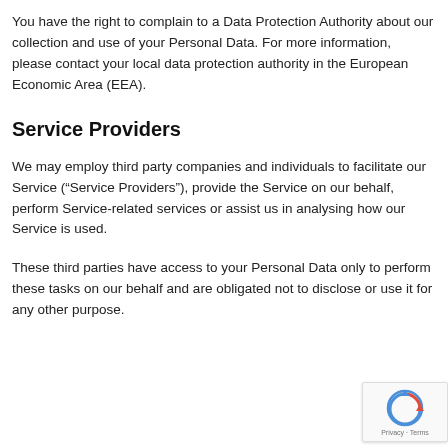You have the right to complain to a Data Protection Authority about our collection and use of your Personal Data. For more information, please contact your local data protection authority in the European Economic Area (EEA).
Service Providers
We may employ third party companies and individuals to facilitate our Service (“Service Providers”), provide the Service on our behalf, perform Service-related services or assist us in analysing how our Service is used.
These third parties have access to your Personal Data only to perform these tasks on our behalf and are obligated not to disclose or use it for any other purpose.